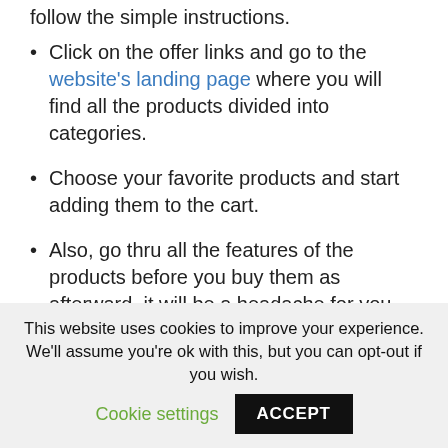follow the simple instructions.
Click on the offer links and go to the website's landing page where you will find all the products divided into categories.
Choose your favorite products and start adding them to the cart.
Also, go thru all the features of the products before you buy them as afterward, it will be a headache for you only to cancel and get into
This website uses cookies to improve your experience. We'll assume you're ok with this, but you can opt-out if you wish.
Cookie settings
ACCEPT